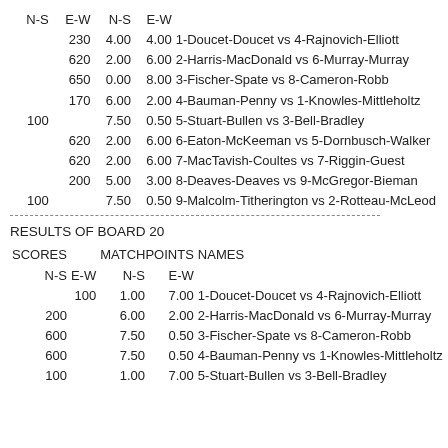| N-S | E-W | N-S | E-W | NAMES |
| --- | --- | --- | --- | --- |
|  | 230 | 4.00 | 4.00 | 1-Doucet-Doucet vs 4-Rajnovich-Elliott |
|  | 620 | 2.00 | 6.00 | 2-Harris-MacDonald vs 6-Murray-Murray |
|  | 650 | 0.00 | 8.00 | 3-Fischer-Spate vs 8-Cameron-Robb |
|  | 170 | 6.00 | 2.00 | 4-Bauman-Penny vs 1-Knowles-Mittleholtz |
| 100 |  | 7.50 | 0.50 | 5-Stuart-Bullen vs 3-Bell-Bradley |
|  | 620 | 2.00 | 6.00 | 6-Eaton-McKeeman vs 5-Dornbusch-Walker |
|  | 620 | 2.00 | 6.00 | 7-MacTavish-Coultes vs 7-Riggin-Guest |
|  | 200 | 5.00 | 3.00 | 8-Deaves-Deaves vs 9-McGregor-Bieman |
| 100 |  | 7.50 | 0.50 | 9-Malcolm-Titherington vs 2-Rotteau-McLeod |
RESULTS OF BOARD 20
| N-S | E-W | N-S | E-W | NAMES |
| --- | --- | --- | --- | --- |
|  | 100 | 1.00 | 7.00 | 1-Doucet-Doucet vs 4-Rajnovich-Elliott |
| 200 |  | 6.00 | 2.00 | 2-Harris-MacDonald vs 6-Murray-Murray |
| 600 |  | 7.50 | 0.50 | 3-Fischer-Spate vs 8-Cameron-Robb |
| 600 |  | 7.50 | 0.50 | 4-Bauman-Penny vs 1-Knowles-Mittleholtz |
| 100 |  | 1.00 | 7.00 | 5-Stuart-Bullen vs 3-Bell-Bradley |